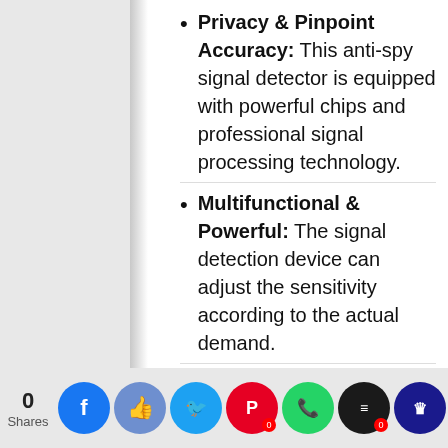Privacy & Pinpoint Accuracy: This anti-spy signal detector is equipped with powerful chips and professional signal processing technology.
Multifunctional & Powerful: The signal detection device can adjust the sensitivity according to the actual demand.
Extensive Use: The detector can be used in ...